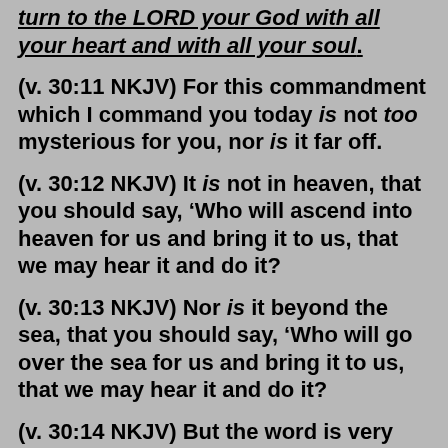turn to the LORD your God with all your heart and with all your soul.
(v. 30:11 NKJV) For this commandment which I command you today is not too mysterious for you, nor is it far off.
(v. 30:12 NKJV) It is not in heaven, that you should say, ‘Who will ascend into heaven for us and bring it to us, that we may hear it and do it?
(v. 30:13 NKJV) Nor is it beyond the sea, that you should say, ‘Who will go over the sea for us and bring it to us, that we may hear it and do it?
(v. 30:14 NKJV) But the word is very near you, in your mouth and in your